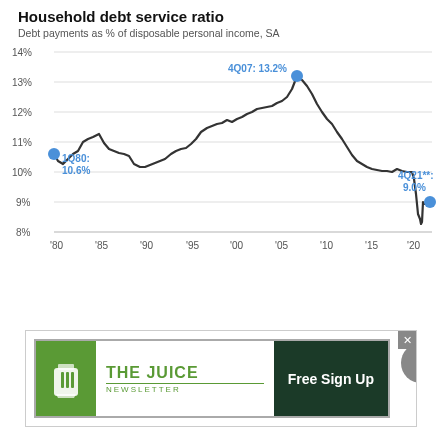[Figure (line-chart): Line chart showing household debt service ratio (debt payments as % of disposable personal income, SA) from 1980 to 2021. Key annotations: 1Q80: 10.6%, 4Q07: 13.2%, 4Q21**: 9.0%]
[Figure (screenshot): Advertisement banner for The Juice Newsletter with Free Sign Up button]